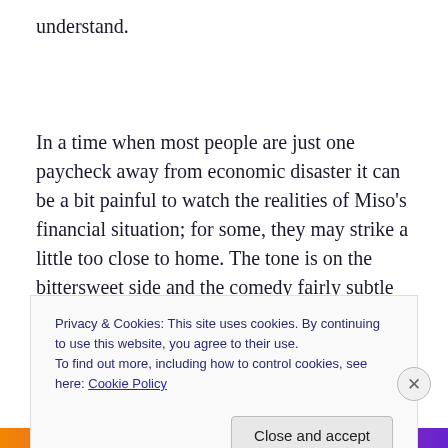understand.
In a time when most people are just one paycheck away from economic disaster it can be a bit painful to watch the realities of Miso’s financial situation; for some, they may strike a little too close to home. The tone is on the bittersweet side and the comedy fairly subtle but I have to admit that the ending was really charming and did a lot to
Privacy & Cookies: This site uses cookies. By continuing to use this website, you agree to their use.
To find out more, including how to control cookies, see here: Cookie Policy
Close and accept